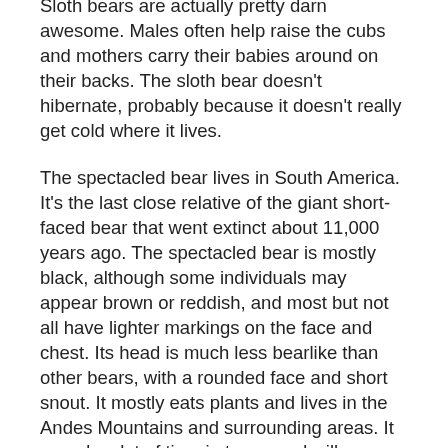Sloth bears are actually pretty darn awesome. Males often help raise the cubs and mothers carry their babies around on their backs. The sloth bear doesn't hibernate, probably because it doesn't really get cold where it lives.
The spectacled bear lives in South America. It's the last close relative of the giant short-faced bear that went extinct about 11,000 years ago. The spectacled bear is mostly black, although some individuals may appear brown or reddish, and most but not all have lighter markings on the face and chest. Its head is much less bearlike than other bears, with a rounded face and short snout. It mostly eats plants and lives in the Andes Mountains and surrounding areas. It spends a lot of time in trees, and will even build a little platform in a tree to sleep on or store food on.
And you know what? Paddington Bear is modeled